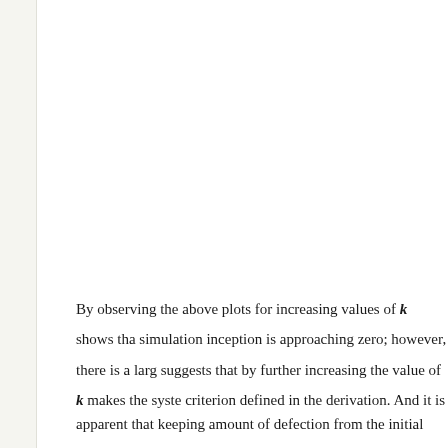By observing the above plots for increasing values of k shows that the simulation inception is approaching zero; however, there is a large suggests that by further increasing the value of k makes the system criterion defined in the derivation. And it is apparent that keeping amount of defection from the initial period, which then propagate